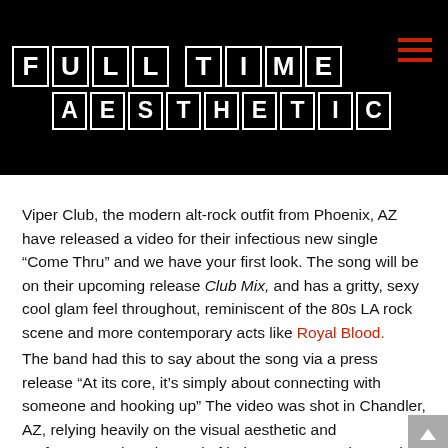FULL TIME AESTHETIC
Viper Club, the modern alt-rock outfit from Phoenix, AZ have released a video for their infectious new single “Come Thru” and we have your first look. The song will be on their upcoming release Club Mix, and has a gritty, sexy cool glam feel throughout, reminiscent of the 80s LA rock scene and more contemporary acts like Royal Blood.
The band had this to say about the song via a press release “At its core, it’s simply about connecting with someone and hooking up” The video was shot in Chandler, AZ, relying heavily on the visual aesthetic and performance shots instead of being more narrative, and was shot on film by